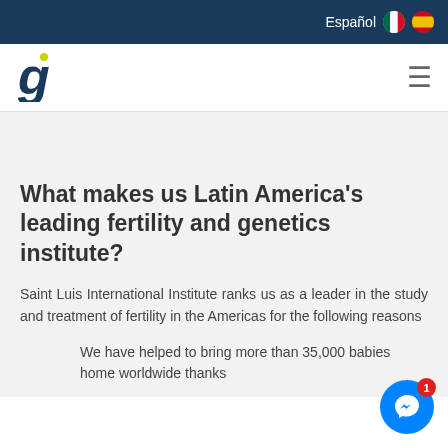Español
[Figure (logo): Stylized lowercase 'g' logo in dark blue with a green-yellow accent dot, representing a fertility/genetics institute brand]
What makes us Latin America's leading fertility and genetics institute?
Saint Luis International Institute ranks us as a leader in the study and treatment of fertility in the Americas for the following reasons
We have helped to bring more than 35,000 babies home worldwide thanks